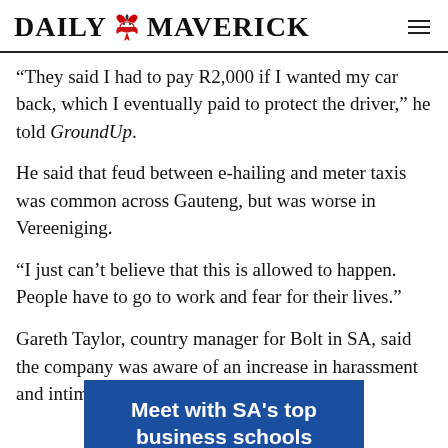DAILY MAVERICK
“They said I had to pay R2,000 if I wanted my car back, which I eventually paid to protect the driver,” he told GroundUp.
He said that feud between e-hailing and meter taxis was common across Gauteng, but was worse in Vereeniging.
“I just can’t believe that this is allowed to happen. People have to go to work and fear for their lives.”
Gareth Taylor, country manager for Bolt in SA, said the company was aware of an increase in harassment and intimidation incidents allegedly by
[Figure (other): Blue advertisement banner reading 'Meet with SA’s top business schools']